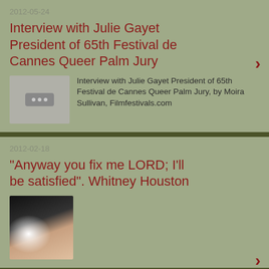2012-05-24
Interview with Julie Gayet President of 65th Festival de Cannes Queer Palm Jury
Interview with Julie Gayet President of 65th Festival de Cannes Queer Palm Jury, by Moira Sullivan, Filmfestivals.com
2012-02-18
"Anyway you fix me LORD; I'll be satisfied". Whitney Houston
Whitney Houston: "Your love is My love.